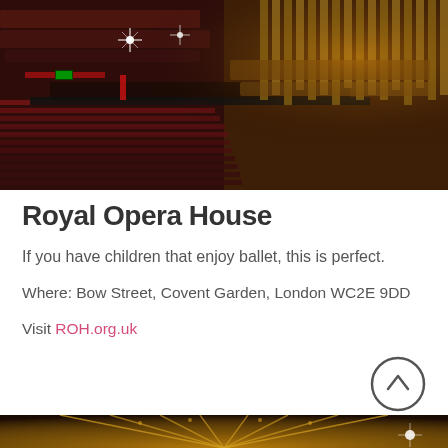[Figure (photo): Interior of Royal Opera House showing red seats, grand balconies, ornate architecture with organ pipes and stage area]
Royal Opera House
If you have children that enjoy ballet, this is perfect.
Where: Bow Street, Covent Garden, London WC2E 9DD
Visit ROH.org.uk
[Figure (photo): Partial view of ornate ceiling/dome interior of a performance venue with gold and cream decoration]